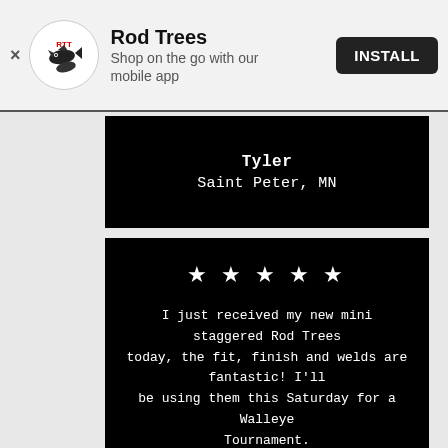[Figure (screenshot): App install banner for 'Rod Trees' mobile app with logo, text 'Shop on the go with our mobile app', and INSTALL button]
Tyler
Saint Peter, MN
★ ★ ★ ★ ★
I just received my new mini staggered Rod Trees today, the fit, finish and welds are fantastic! I'll be using them this Saturday for a Walleye Tournament.
[Figure (photo): Circular photo of reviewer Steve holding a fish outdoors]
Steve
Charlotte, MI